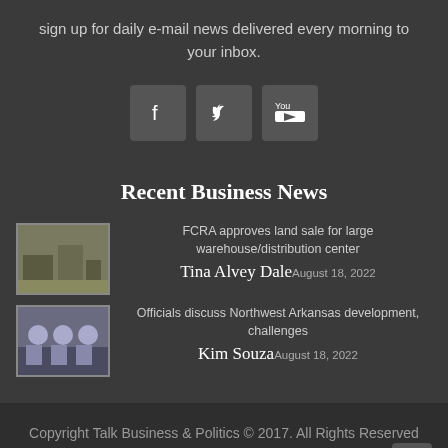sign up for daily e-mail news delivered every morning to your inbox.
[Figure (infographic): Social media icon buttons for Facebook, Twitter, and YouTube]
Recent Business News
[Figure (photo): Thumbnail image for FCRA land sale article]
FCRA approves land sale for large warehouse/distribution center
Tina Alvey Dale August 18, 2022
[Figure (photo): Thumbnail image for Northwest Arkansas development article]
Officials discuss Northwest Arkansas development, challenges
Kim Souza August 18, 2022
Copyright Talk Business & Politics © 2017. All Rights Reserved